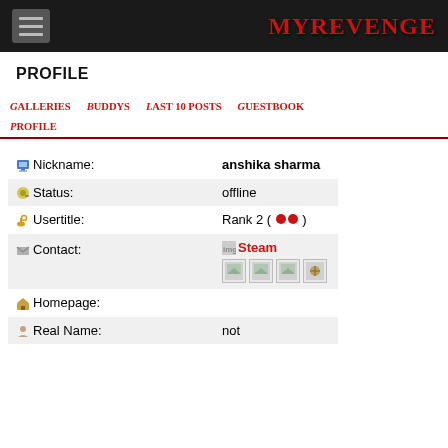MYREVENGE
PROFILE
Galleries | Buddys | Last 10 posts | Guestbook | Profile
| Field | Value |
| --- | --- |
| Nickname: | anshika sharma |
| Status: | offline |
| Usertitle: | Rank 2 ( ●● ) |
| Contact: | Steam [icons] |
| Homepage: |  |
| Real Name: | not |